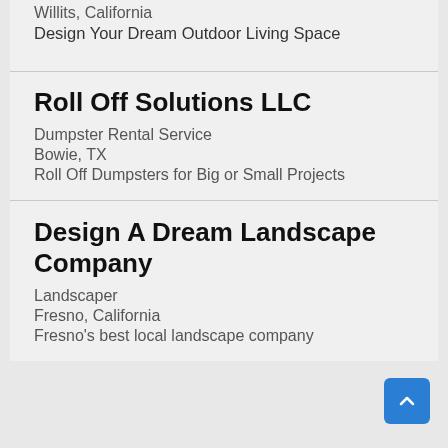Willits, California
Design Your Dream Outdoor Living Space
Roll Off Solutions LLC
Dumpster Rental Service
Bowie, TX
Roll Off Dumpsters for Big or Small Projects
Design A Dream Landscape Company
Landscaper
Fresno, California
Fresno's best local landscape company